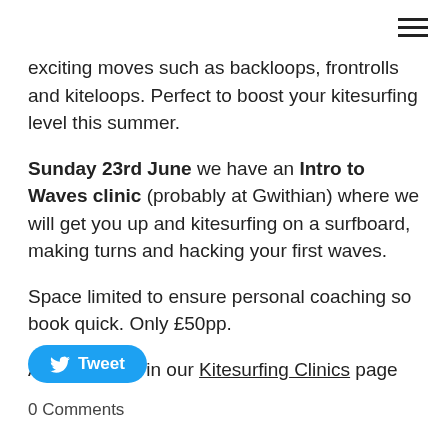exciting moves such as backloops, frontrolls and kiteloops. Perfect to boost your kitesurfing level this summer.
Sunday 23rd June we have an Intro to Waves clinic (probably at Gwithian) where we will get you up and kitesurfing on a surfboard, making turns and hacking your first waves.
Space limited to ensure personal coaching so book quick. Only £50pp.
All the details in our Kitesurfing Clinics page
Tweet
0 Comments